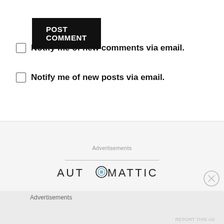POST COMMENT
Notify me of new comments via email.
Notify me of new posts via email.
Advertisements
[Figure (logo): Automattic logo with stylized 'O' containing a circular blue/grey icon]
Advertisements
REPORT THIS AD